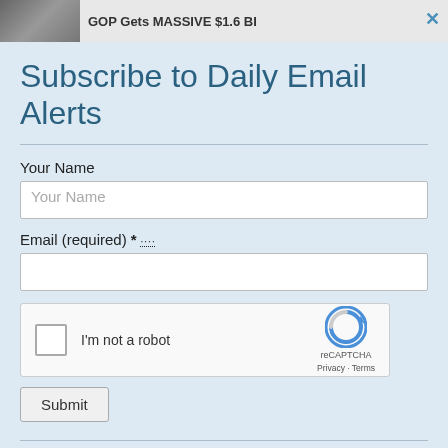[Figure (screenshot): Top ad banner showing a partial image and text 'GOP Gets MASSIVE $1.6 BI' with a close (×) button]
Subscribe to Daily Email Alerts
Your Name
Your Name (input field placeholder)
Email (required) *
[Figure (other): reCAPTCHA widget with checkbox labeled 'I'm not a robot' and reCAPTCHA logo with Privacy · Terms links]
Submit
By submitting this form, you are consenting to receive marketing emails from: News With Views, P.O. Box 990, Spring Branch, TX, 78070-9998,